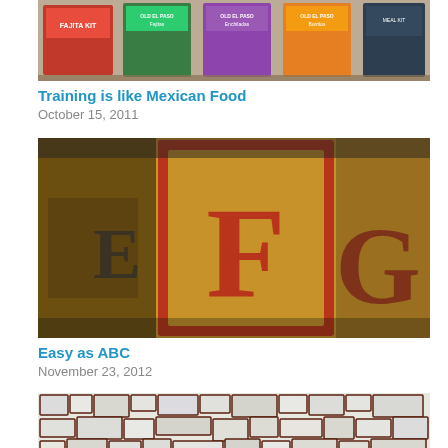[Figure (photo): Photo of Mexican food product boxes on a store shelf including Old El Paso Fajita Kit, Enchiladas, and Burritos packages]
Training is like Mexican Food
October 15, 2011
[Figure (photo): Close-up photo of wooden alphabet blocks showing letters E, F, G with red painted accents on warm wood tones]
Easy as ABC
November 23, 2012
[Figure (photo): Photo of a cracked white mosaic tile pattern with dark red/brown grout lines creating irregular shapes]